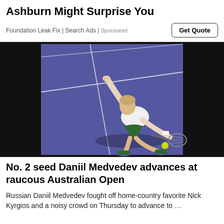Ashburn Might Surprise You
Foundation Leak Fix | Search Ads | Sponsored
[Figure (photo): Tennis player Daniil Medvedev in a low stretch position on a dark blue hard court, reaching for a shot with his racket, wearing white top and green shorts.]
No. 2 seed Daniil Medvedev advances at raucous Australian Open
Russian Daniil Medvedev fought off home-country favorite Nick Kyrgios and a noisy crowd on Thursday to advance to …